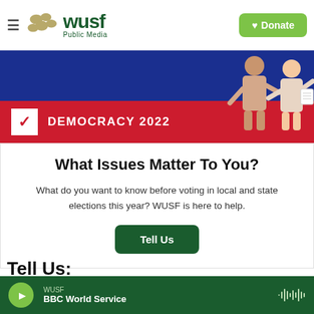WUSF Public Media — Donate
[Figure (screenshot): Democracy 2022 banner with blue and red background and two illustrated figures of people talking. Red section shows checkbox icon and text DEMOCRACY 2022.]
What Issues Matter To You?
What do you want to know before voting in local and state elections this year? WUSF is here to help.
Tell Us
Tell Us:
WUSF — BBC World Service